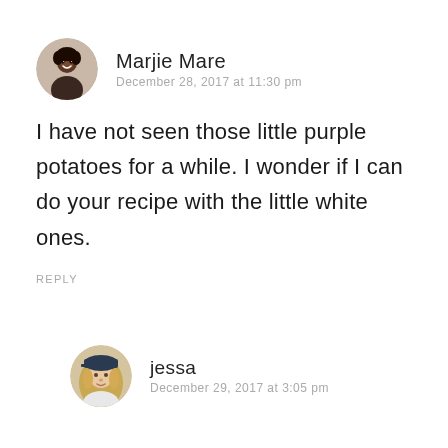[Figure (photo): Circular avatar photo of Marjie Mare, a woman with curly hair and a smile]
Marjie Mare
December 28, 2017 at 11:30 pm
I have not seen those little purple potatoes for a while. I wonder if I can do your recipe with the little white ones.
REPLY
[Figure (photo): Circular avatar photo of jessa, a woman with blonde hair wearing a dark cap]
jessa
December 29, 2017 at 3:05 pm